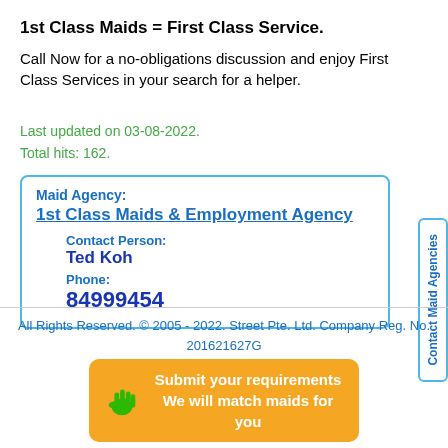1st Class Maids = First Class Service.
Call Now for a no-obligations discussion and enjoy First Class Services in your search for a helper.
Last updated on 03-08-2022.
Total hits: 162.
| Maid Agency: | 1st Class Maids & Employment Agency |
| Contact Person: | Ted Koh |
| Phone: | 84999454 |
Contact Maid Agencies
All Rights Reserved. © 2005 - 2022. Street Pte. Ltd. Company Reg. No. 201621627G
Submit your requirements
We will match maids for you